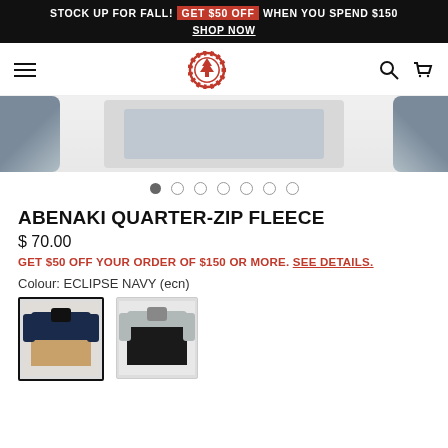STOCK UP FOR FALL! GET $50 OFF WHEN YOU SPEND $150 SHOP NOW
[Figure (screenshot): Navigation bar with hamburger menu, Element brand logo (red circular emblem with tree), search icon, and cart icon]
[Figure (photo): Partial product image showing the Abenaki Quarter-Zip Fleece in Eclipse Navy colorway, displayed in a carousel with 7 navigation dots]
ABENAKI QUARTER-ZIP FLEECE
$ 70.00
GET $50 OFF YOUR ORDER OF $150 OR MORE. SEE DETAILS.
Colour: ECLIPSE NAVY (ecn)
[Figure (photo): Two color swatch thumbnail images of the Abenaki Quarter-Zip Fleece: first (selected, with black border) shows navy/tan colorway, second shows grey/black colorway]